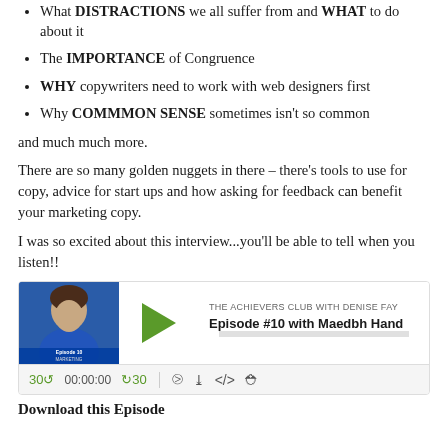What DISTRACTIONS we all suffer from and WHAT to do about it
The IMPORTANCE of Congruence
WHY copywriters need to work with web designers first
Why COMMMON SENSE sometimes isn't so common
and much much more.
There are so many golden nuggets in there – there's tools to use for copy, advice for start ups and how asking for feedback can benefit your marketing copy.
I was so excited about this interview...you'll be able to tell when you listen!!
[Figure (screenshot): Podcast player for 'The Achievers Club with Denise Fay', Episode #10 with Maedbh Hand. Shows thumbnail of host, green play button, episode title, progress bar showing 00:00:00, and playback controls.]
Download this Episode